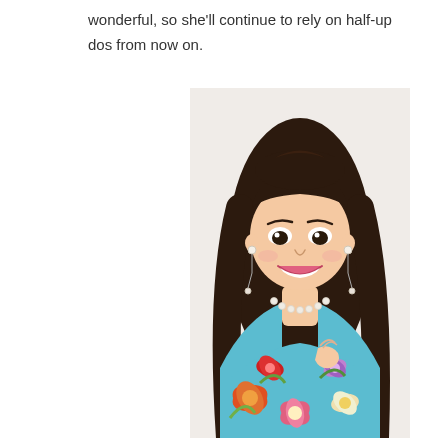wonderful, so she'll continue to rely on half-up dos from now on.
[Figure (photo): A smiling young Asian woman with long dark hair styled in a half-up do, wearing pearl drop earrings, a pearl necklace, and a sleeveless floral dress in teal/blue with red, orange, pink, and white flowers. She is posed against a white background, holding her hair with one hand.]